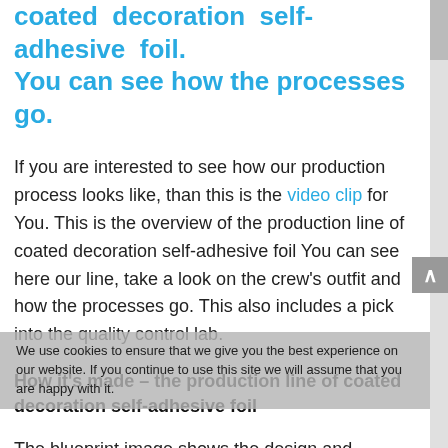coated decoration self-adhesive foil. You can see how the processes go.
If you are interested to see how our production process looks like, than this is the video clip for You. This is the overview of the production line of coated decoration self-adhesive foil You can see here our line, take a look on the crew's outfit and how the processes go. This also includes a pick into the quality control lab.
How it's made – the production line of coated decoration self-adhesive foil
The blueprint image shows the design and dimensions of our production line. All of our coated products must go through it. The line works under special regime in order to produce the high-quality products. This includes special clothing (see the gallery here)